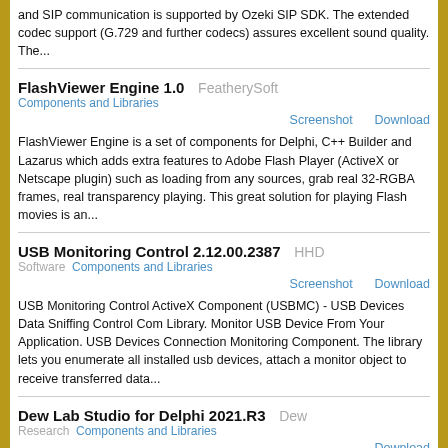and SIP communication is supported by Ozeki SIP SDK. The extended codec support (G.729 and further codecs) assures excellent sound quality. The...
FlashViewer Engine 1.0   FeatherySoft
Components and Libraries
Screenshot   Download
FlashViewer Engine is a set of components for Delphi, C++ Builder and Lazarus which adds extra features to Adobe Flash Player (ActiveX or Netscape plugin) such as loading from any sources, grab real 32-RGBA frames, real transparency playing. This great solution for playing Flash movies is an...
USB Monitoring Control 2.12.00.2387   HHD
Software   Components and Libraries
Screenshot   Download
USB Monitoring Control ActiveX Component (USBMC) - USB Devices Data Sniffing Control Com Library. Monitor USB Device From Your Application. USB Devices Connection Monitoring Component. The library lets you enumerate all installed usb devices, attach a monitor object to receive transferred data...
Dew Lab Studio for Delphi 2021.R3   Dew
Research   Components and Libraries
Download
Dew Lab Studio includes MtxVec math library and additional signal analysis (DSP Master) and statistical analysis (Stats Master) add-on packages. Features include: - available as FMX, VCL and .NET Core. - Win32,Win64,MacOS,iOS,Android,Linux - fast object oriented numerical/matrix